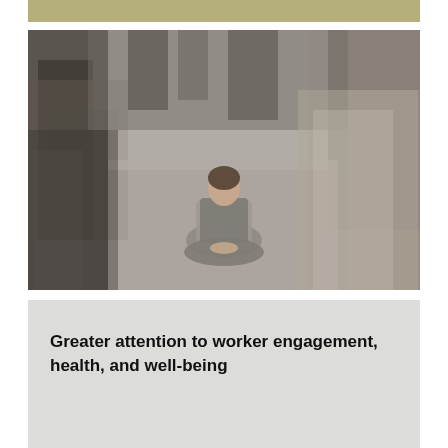[Figure (photo): A woman in a business suit sits in a meditation pose (lotus position) on a busy walkway while blurred crowds of people rush past around her.]
Greater attention to worker engagement, health, and well-being